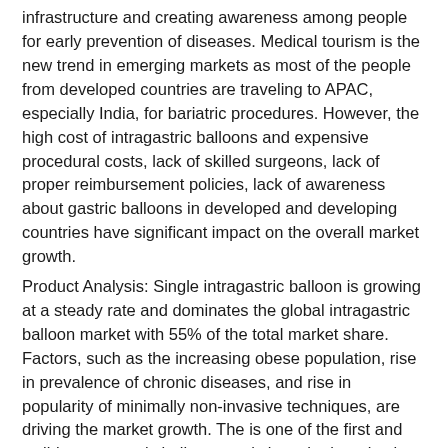infrastructure and creating awareness among people for early prevention of diseases. Medical tourism is the new trend in emerging markets as most of the people from developed countries are traveling to APAC, especially India, for bariatric procedures. However, the high cost of intragastric balloons and expensive procedural costs, lack of skilled surgeons, lack of proper reimbursement policies, lack of awareness about gastric balloons in developed and developing countries have significant impact on the overall market growth.
Product Analysis: Single intragastric balloon is growing at a steady rate and dominates the global intragastric balloon market with 55% of the total market share. Factors, such as the increasing obese population, rise in prevalence of chronic diseases, and rise in popularity of minimally non-invasive techniques, are driving the market growth. The is one of the first and well-known gastric balloon used since the introduction of intragastric balloons in the market. The popularity of single intragastric balloon for its non-invasive technique and alternative to undergo the knife has increased the adoption of gastric balloons in the market accounting for 50% of the total market share. Orbera by Apollo Endosurgery is one of the most popular single gastric balloon that received FDA